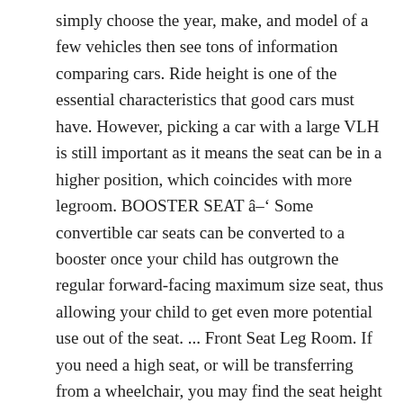simply choose the year, make, and model of a few vehicles then see tons of information comparing cars. Ride height is one of the essential characteristics that good cars must have. However, picking a car with a large VLH is still important as it means the seat can be in a higher position, which coincides with more legroom. BOOSTER SEAT â Some convertible car seats can be converted to a booster once your child has outgrown the regular forward-facing maximum size seat, thus allowing your child to get even more potential use out of the seat. ... Front Seat Leg Room. If you need a high seat, or will be transferring from a wheelchair, you may find the seat height measurement useful. 67.7 in 60.6 in Max Width. Use our car comparison tool to know which car is best for you. WEIGHT: 4-35 pounds HEIGHT: 32 inches or less Cosco Scenera Next Read CSFTL Review: Rear Facing Limits: 5-40 lbs, 19-40â³, or head 1" below the top of the 23â³ shell Forward Facing Limits: 22-40 lbs, 29-